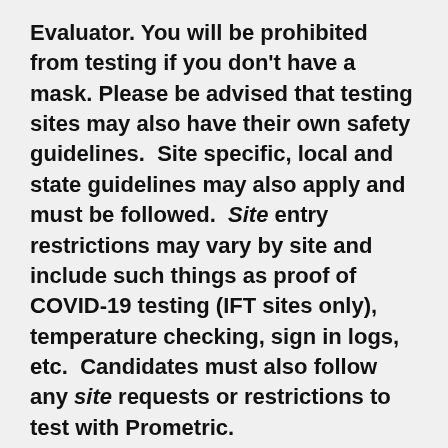Evaluator. You will be prohibited from testing if you don't have a mask. Please be advised that testing sites may also have their own safety guidelines.  Site specific, local and state guidelines may also apply and must be followed.  Site entry restrictions may vary by site and include such things as proof of COVID-19 testing (IFT sites only), temperature checking, sign in logs, etc.  Candidates must also follow any site requests or restrictions to test with Prometric.
For the latest updates regarding COVID-19 in general and best practices for overall health